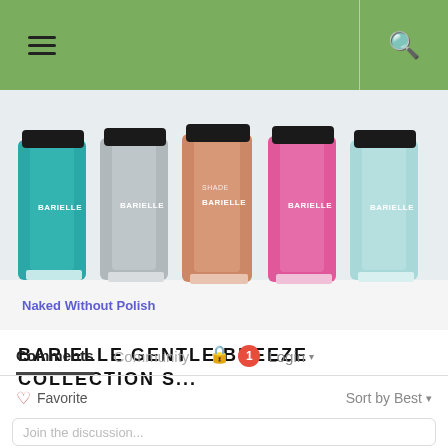Navigation header with hamburger menu and search icon
[Figure (photo): Five Barielle nail polish bottles in a row: teal, gray, peach/salmon, pink, and light blue. Each bottle has a black cap and 'BARIELLE' label. Watermark text 'Naked Without Polish' in blue in the lower left corner.]
BARIELLE GENTLE BREEZE COLLECTION S...
Comments   Community   🔒  1  Login ▾
♡ Favorite   Sort by Best ▾
Join the discussion...